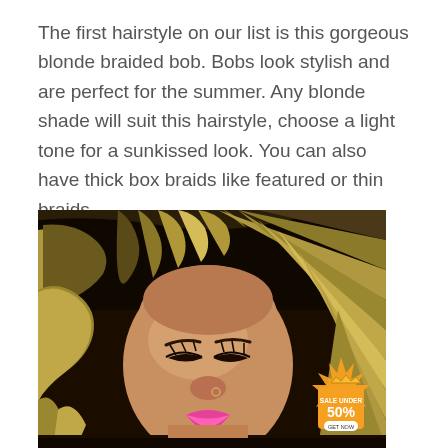The first hairstyle on our list is this gorgeous blonde braided bob. Bobs look stylish and are perfect for the summer. Any blonde shade will suit this hairstyle, choose a light tone for a sunkissed look. You can also have thick box braids like featured or thin braids.
[Figure (photo): Close-up photo of a woman with thick blonde box braids styled as a bob. She has her eyes closed, is wearing pink lipstick, and has a nose ring. A promotional badge overlay in the bottom right corner reads 'SALE UNDER 50% GET NOW' with a crown icon.]